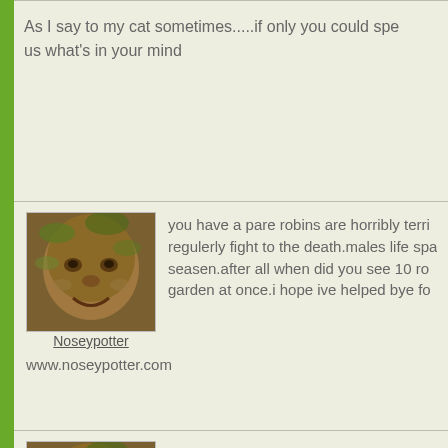As I say to my cat sometimes.....if only you could speak and tell us what's in your mind
[Figure (photo): Avatar image of a face made of wood or stone, user Noseypotter]
Noseypotter
you have a pare robins are horribly terri... regulerly fight to the death.males life spa... seasen.after all when did you see 10 ro... garden at once.i hope ive helped bye fo... www.noseypotter.com
[Figure (photo): Avatar image of a face made of wood or stone, user Noseypotter]
Noseypotter
even with loads of food